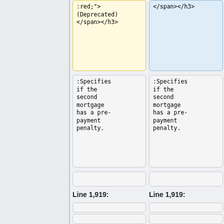[Figure (screenshot): Diff view showing two columns of code/text boxes. Left column has yellow background boxes, right column has blue background boxes. Content includes deprecated HTML with inline styles and mortgage pre-payment penalty descriptions. Line 1,919 label appears in both columns. Bottom boxes show h3 style with background-color:rgb(24...).]
:red;">
(Deprecated)
</span></h3>
</span></h3>
:Specifies if the second mortgage has a pre-payment penalty.
:Specifies if the second mortgage has a pre-payment penalty.
Line 1,919:
Line 1,919:
<h3 style="background-color:rgb(24
<h3 style="background-color:rgb(24